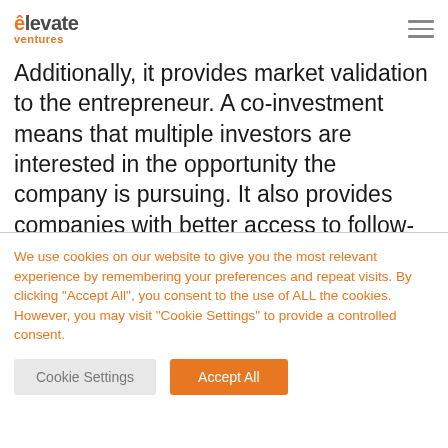elevate ventures
Additionally, it provides market validation to the entrepreneur. A co-investment means that multiple investors are interested in the opportunity the company is pursuing. It also provides companies with better access to follow-on capital when it is needed, and gives them insight into additional resources as they grow.
We use cookies on our website to give you the most relevant experience by remembering your preferences and repeat visits. By clicking "Accept All", you consent to the use of ALL the cookies. However, you may visit "Cookie Settings" to provide a controlled consent.